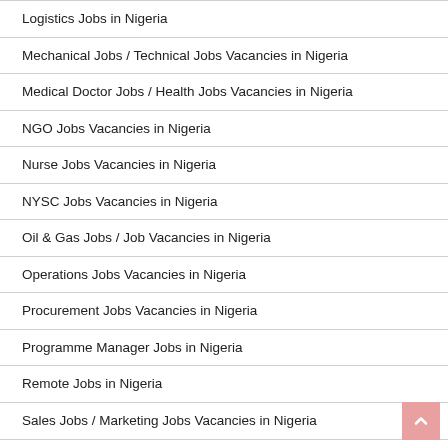Logistics Jobs in Nigeria
Mechanical Jobs / Technical Jobs Vacancies in Nigeria
Medical Doctor Jobs / Health Jobs Vacancies in Nigeria
NGO Jobs Vacancies in Nigeria
Nurse Jobs Vacancies in Nigeria
NYSC Jobs Vacancies in Nigeria
Oil & Gas Jobs / Job Vacancies in Nigeria
Operations Jobs Vacancies in Nigeria
Procurement Jobs Vacancies in Nigeria
Programme Manager Jobs in Nigeria
Remote Jobs in Nigeria
Sales Jobs / Marketing Jobs Vacancies in Nigeria
Secretarial Jobs / Personal Assistant Jobs in Nigeria
Software Developer Jobs / Programmer Jobs in Nigeria